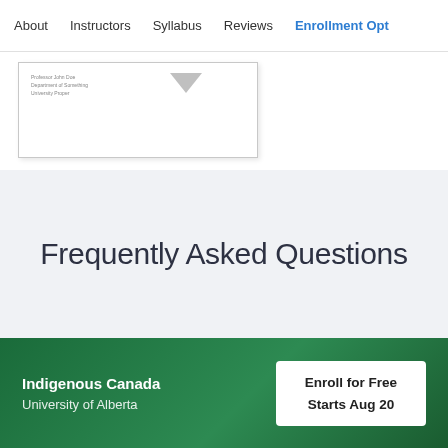About | Instructors | Syllabus | Reviews | Enrollment Opt
[Figure (screenshot): A thumbnail image of a document or slide with small text and a downward arrow indicator]
Frequently Asked Questions
Indigenous Canada
University of Alberta
Enroll for Free
Starts Aug 20